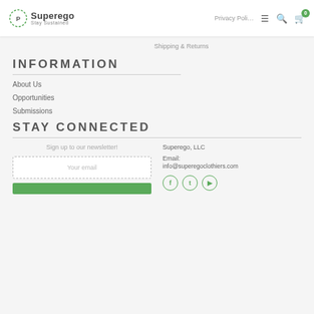[Figure (logo): Superego logo with dotted circle and tagline 'Stay Sustained']
Privacy Policy  Shipping & Returns
INFORMATION
About Us
Opportunities
Submissions
STAY CONNECTED
Sign up to our newsletter!
Your email
Superego, LLC
Email: info@superegoclothiers.com